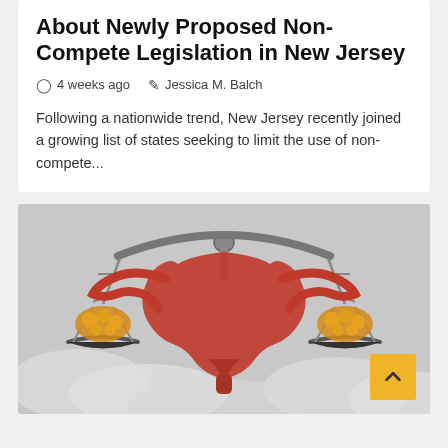About Newly Proposed Non-Compete Legislation in New Jersey
4 weeks ago   Jessica M. Balch
Following a nationwide trend, New Jersey recently joined a growing list of states seeking to limit the use of non-compete...
[Figure (illustration): Illustration of a balance scale (justice scales) with a uterus/reproductive organ as the central element, ovaries resting in the scale pans, set against a cloudy gray background.]